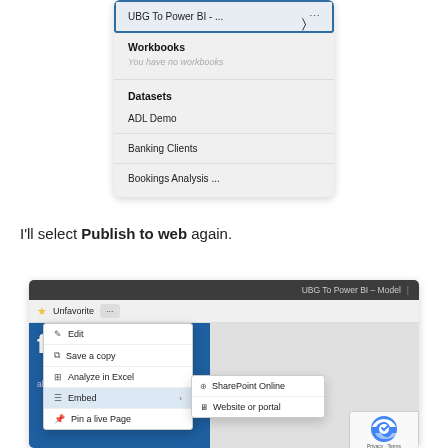[Figure (screenshot): Power BI workspace panel showing 'UBG To Power BI - ...' selected (highlighted with blue border and cursor), followed by Workbooks section with 'You have no workbooks' message, Datasets section with items 'ADL Demo', 'Banking Clients', and 'Bookings Analysis ...']
I'll select Publish to web again.
[Figure (screenshot): Power BI report page titled 'UBG To Power BI - Model' with dark top bar, a toolbar showing star/Unfavorite and ellipsis menu button. A dropdown context menu is open showing options: Edit, Save a copy, Analyze in Excel, Embed (with submenu showing SharePoint Online and Website or portal), Pin a live Page. A reCAPTCHA badge is visible in the bottom right corner.]